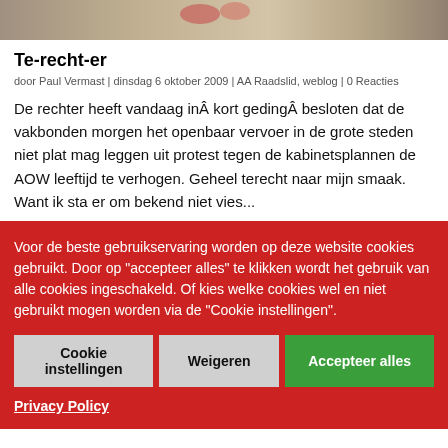[Figure (photo): Top portion of a photograph, showing what appears to be a building or street scene with flowers]
Te-recht-er
door Paul Vermast | dinsdag 6 oktober 2009 | AA Raadslid, weblog | 0 Reacties
De rechter heeft vandaag inÂ kort gedingÂ besloten dat de vakbonden morgen het openbaar vervoer in de grote steden niet plat mag leggen uit protest tegen de kabinetsplannen de AOW leeftijd te verhogen. Geheel terecht naar mijn smaak. Want ik sta er om bekend niet vies...
Voor de beste gebruikservaring worden op deze website cookies gebruikt. Door op “accepteer alles” te klikken wordt het gebruik van alle cookies ingeschakeld. Of kies welke cookies wel en niet gebruikt mogen worden via de “Cookie instellingen”.
Cookie instellingen   Weigeren   Accepteer alles
Privacy Policy